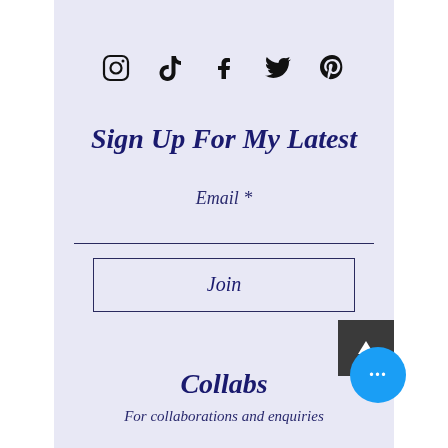[Figure (illustration): Row of five social media icons: Instagram, TikTok, Facebook, Twitter/X, Pinterest]
Sign Up For My Latest
Email *
[Figure (other): Horizontal underline input field for email]
Join
[Figure (other): Dark grey square scroll-to-top button with upward arrow]
Collabs
For collaborations and enquiries
[Figure (other): Blue circular chat/help button with three dots]